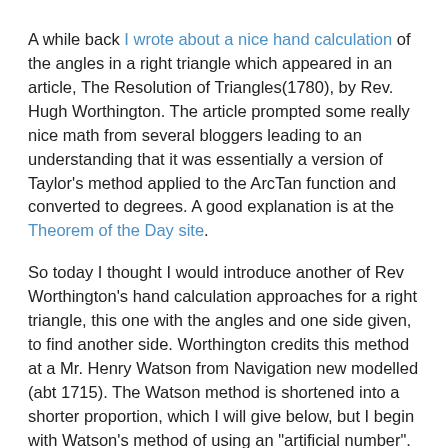A while back I wrote about a nice hand calculation of the angles in a right triangle which appeared in an article, The Resolution of Triangles(1780), by Rev. Hugh Worthington. The article prompted some really nice math from several bloggers leading to an understanding that it was essentially a version of Taylor's method applied to the ArcTan function and converted to degrees. A good explanation is at the Theorem of the Day site.
So today I thought I would introduce another of Rev Worthington's hand calculation approaches for a right triangle, this one with the angles and one side given, to find another side. Worthington credits this method at a Mr. Henry Watson from Navigation new modelled (abt 1715). The Watson method is shortened into a shorter proportion, which I will give below, but I begin with Watson's method of using an "artificial number".
The method works two ways, to find a smaller angle if the Hypotenuse is known, and then to find the Hypotenuse if a leg is known.